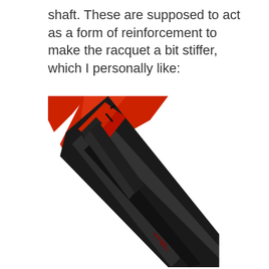shaft. These are supposed to act as a form of reinforcement to make the racquet a bit stiffer, which I personally like:
[Figure (photo): Close-up photograph of a badminton or tennis racquet shaft showing a black graphite shaft with red frame elements and a dark fin/ridge detail along the shaft for stiffness reinforcement.]